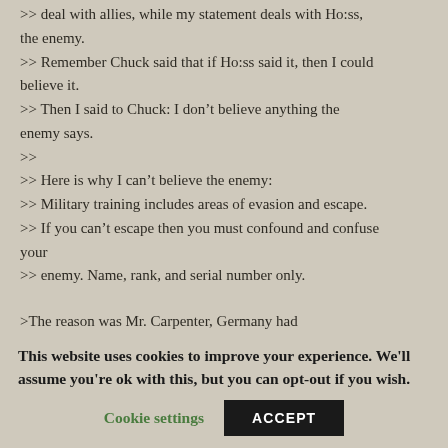>> deal with allies, while my statement deals with Ho:ss, the enemy.
>> Remember Chuck said that if Ho:ss said it, then I could believe it.
>> Then I said to Chuck: I don't believe anything the enemy says.
>>
>> Here is why I can't believe the enemy:
>> Military training includes areas of evasion and escape.
>> If you can't escape then you must confound and confuse your
>> enemy. Name, rank, and serial number only.

>The reason was Mr. Carpenter, Germany had
This website uses cookies to improve your experience. We'll assume you're ok with this, but you can opt-out if you wish.
Cookie settings   ACCEPT